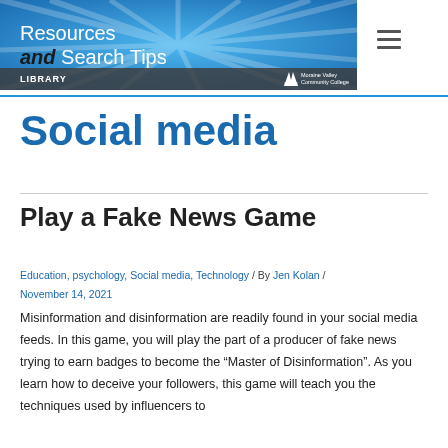[Figure (illustration): Library website header banner with blue radial ray background, text 'Resources and Search Tips', dark bar at bottom with 'LIBRARY' and Moraine Valley Community College logo]
Social media
Play a Fake News Game
Education, psychology, Social media, Technology / By Jen Kolan / November 14, 2021
Misinformation and disinformation are readily found in your social media feeds. In this game, you will play the part of a producer of fake news trying to earn badges to become the “Master of Disinformation”. As you learn how to deceive your followers, this game will teach you the techniques used by influencers to